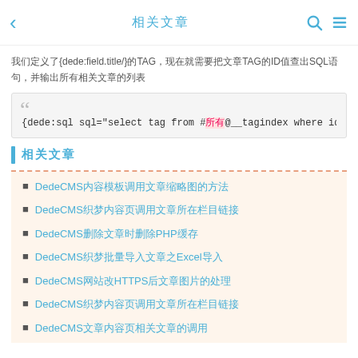相关文章
我们定义了{dede:field.title/}的TAG，现在就需要把文章TAG的ID值查出SQL语句，并输出所有相关文章的列表
{dede:sql sql="select tag from #所有@__tagindex where id=~title~"}[field:tag/]{/dede:
相关文章
DedeCMS内容模板调用文章缩略图的方法
DedeCMS织梦内容页调用文章所在栏目链接
DedeCMS删除文章时删除PHP缓存
DedeCMS织梦批量导入文章之Excel导入
DedeCMS网站改HTTPS后文章图片的处理
DedeCMS织梦内容页调用文章所在栏目链接
DedeCMS文章内容页相关文章的调用